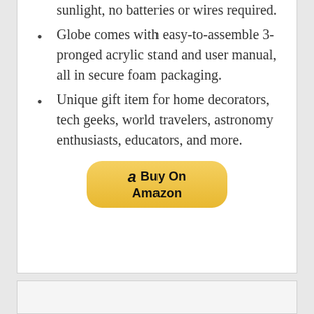sunlight, no batteries or wires required.
Globe comes with easy-to-assemble 3-pronged acrylic stand and user manual, all in secure foam packaging.
Unique gift item for home decorators, tech geeks, world travelers, astronomy enthusiasts, educators, and more.
[Figure (other): Buy On Amazon button with Amazon logo]